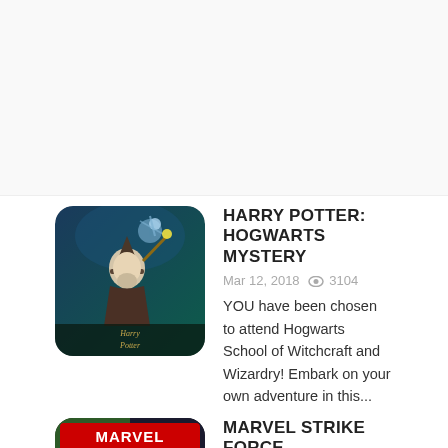[Figure (other): Advertisement placeholder area (blank/white space)]
HARRY POTTER: HOGWARTS MYSTERY
Mar 12, 2018  👁 3104
YOU have been chosen to attend Hogwarts School of Witchcraft and Wizardry! Embark on your own adventure in this...
MARVEL STRIKE FORCE
Mar 12, 2018  👁 3167
In MARVEL Strike Force, ready for